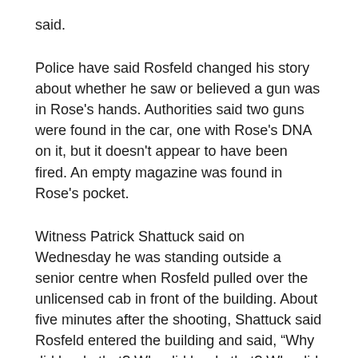said.
Police have said Rosfeld changed his story about whether he saw or believed a gun was in Rose's hands. Authorities said two guns were found in the car, one with Rose's DNA on it, but it doesn't appear to have been fired. An empty magazine was found in Rose's pocket.
Witness Patrick Shattuck said on Wednesday he was standing outside a senior centre when Rosfeld pulled over the unlicensed cab in front of the building. About five minutes after the shooting, Shattuck said Rosfeld entered the building and said, “Why did he do that? Why did he do that? Why did he take that out of his pocket?”
East Pittsburgh Mayor Louis J Payne, who was also there, said he, too, heard Rosfeld said, “Why did he do that?” but